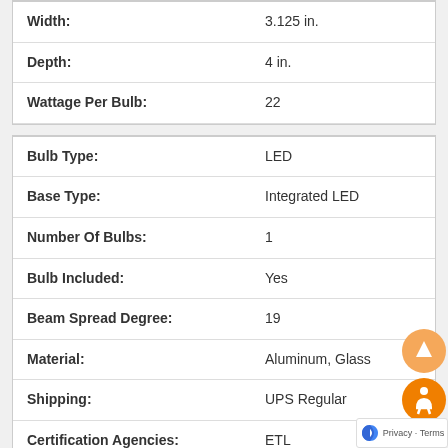| Property | Value |
| --- | --- |
| Width: | 3.125 in. |
| Depth: | 4 in. |
| Wattage Per Bulb: | 22 |
| Property | Value |
| --- | --- |
| Bulb Type: | LED |
| Base Type: | Integrated LED |
| Number Of Bulbs: | 1 |
| Bulb Included: | Yes |
| Beam Spread Degree: | 19 |
| Material: | Aluminum, Glass |
| Shipping: | UPS Regular |
| Certification Agencies: | ETL |
| Weight: | 2.205 lbs |